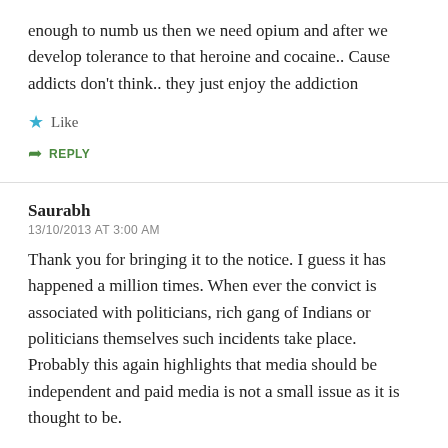enough to numb us then we need opium and after we develop tolerance to that heroine and cocaine.. Cause addicts don't think.. they just enjoy the addiction
★ Like
➦ REPLY
Saurabh
13/10/2013 AT 3:00 AM
Thank you for bringing it to the notice. I guess it has happened a million times. When ever the convict is associated with politicians, rich gang of Indians or politicians themselves such incidents take place. Probably this again highlights that media should be independent and paid media is not a small issue as it is thought to be.